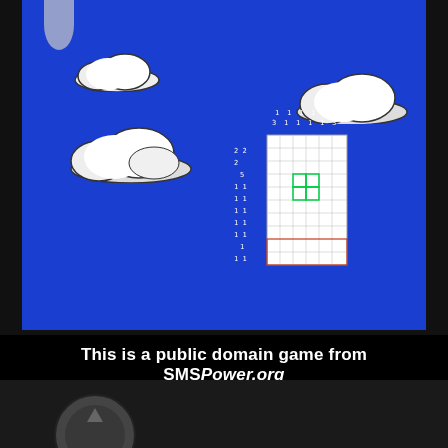[Figure (screenshot): Screenshot of a public domain Sega Master System / Game Gear game running in MasterGear emulator on Android. The game screen shows a blue sky background with white clouds and a nonogram/picross puzzle grid in the center-right of the screen. Below the game screen is the emulator UI showing a d-pad controller on the left and a red action button on the right, with a 'MASTERGEAR' label. A caption reads 'This is a public domain game from SMSPower.org'.]
This is a public domain game from SMSPower.org